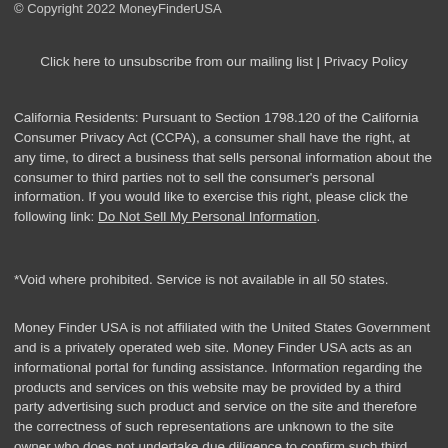© Copyright 2022 MoneyFinderUSA
Click here to unsubscribe from our mailing list | Privacy Policy
California Residents: Pursuant to Section 1798.120 of the California Consumer Privacy Act (CCPA), a consumer shall have the right, at any time, to direct a business that sells personal information about the consumer to third parties not to sell the consumer's personal information. If you would like to exercise this right, please click the following link: Do Not Sell My Personal Information.
*Void where prohibited. Service is not available in all 50 states.
Money Finder USA is not affiliated with the United States Government and is a privately operated web site. Money Finder USA acts as an informational portal for funding assistance. Information regarding the products and services on this website may be provided by a third party advertising such product and service on the site and therefore the correctness of such representations are unknown to the site owner who does not undertake due diligence to confirm such third party representations regarding third party advertising claims. When you are redirected to the third party advertiser's site and you should review their